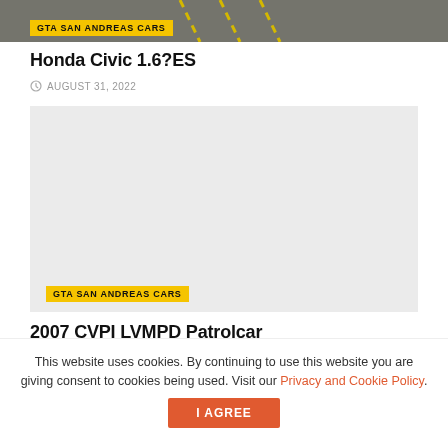[Figure (photo): Top cropped photo of a road/asphalt with yellow lane markings, partially visible, with a yellow 'GTA SAN ANDREAS CARS' badge overlay at bottom left]
Honda Civic 1.6?ES
AUGUST 31, 2022
[Figure (photo): Large light gray placeholder image card with a 'GTA SAN ANDREAS CARS' badge at bottom left]
2007 CVPI LVMPD Patrolcar
This website uses cookies. By continuing to use this website you are giving consent to cookies being used. Visit our Privacy and Cookie Policy.
I Agree